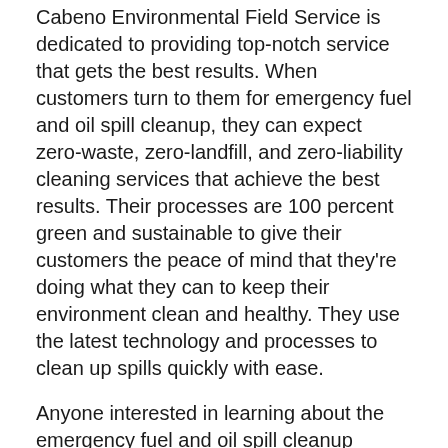Cabeno Environmental Field Service is dedicated to providing top-notch service that gets the best results. When customers turn to them for emergency fuel and oil spill cleanup, they can expect zero-waste, zero-landfill, and zero-liability cleaning services that achieve the best results. Their processes are 100 percent green and sustainable to give their customers the peace of mind that they're doing what they can to keep their environment clean and healthy. They use the latest technology and processes to clean up spills quickly with ease.
Anyone interested in learning about the emergency fuel and oil spill cleanup process can find out more by visiting the Cabeno Environmental Field Services website or by calling 1-815-774-3747.
About Cabeno Environmental Field Services: Cabeno Environmental Field Services offers turnkey environmental support services. With more than 75 years of combined